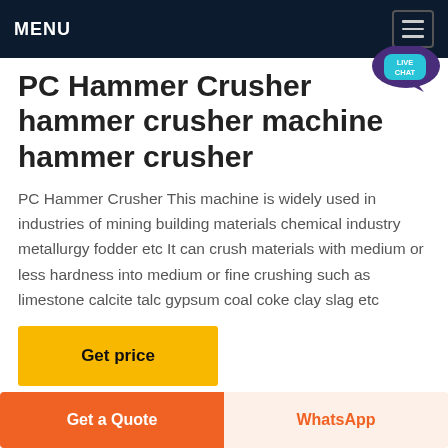MENU
PC Hammer Crusher hammer crusher machine hammer crusher
PC Hammer Crusher This machine is widely used in industries of mining building materials chemical industry metallurgy fodder etc It can crush materials with medium or less hardness into medium or fine crushing such as limestone calcite talc gypsum coal coke clay slag etc
Get price
Get a Quote
WhatsApp